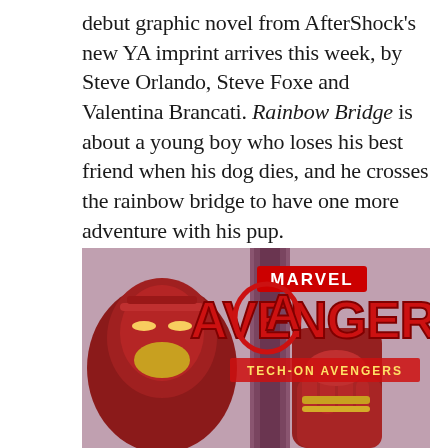debut graphic novel from AfterShock's new YA imprint arrives this week, by Steve Orlando, Steve Foxe and Valentina Brancati. Rainbow Bridge is about a young boy who loses his best friend when his dog dies, and he crosses the rainbow bridge to have one more adventure with his pup.
[Figure (illustration): Marvel Avengers Tech-On Avengers comic book cover art featuring Iron Man armor characters in red and gold with the Marvel Avengers Tech-On Avengers logo prominently displayed]